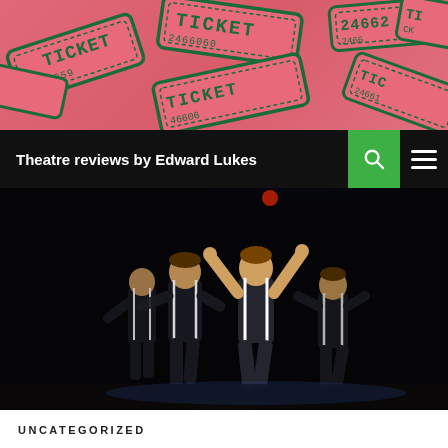[Figure (photo): Pink/red raffle tickets scattered, with 'TICKET' text and numbers like 2466060, 24662 printed in dark green]
Theatre reviews by Edward Lukes
[Figure (photo): Stage performance photo showing four dancers/performers in black tank tops with white suspenders, performing under blue stage lighting on a dark stage]
UNCATEGORIZED
“A CLOCKWORK ORANGE”